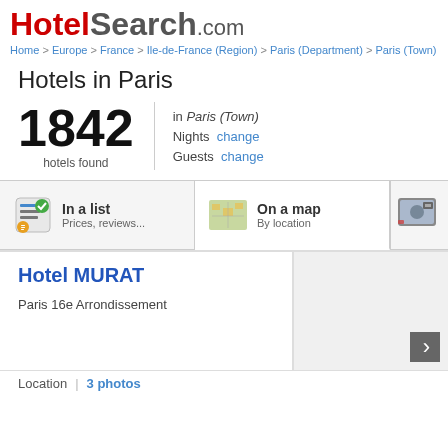HotelSearch.com
Home > Europe > France > Ile-de-France (Region) > Paris (Department) > Paris (Town)
Hotels in Paris
1842 hotels found in Paris (Town)
Nights change
Guests change
In a list
Prices, reviews...
On a map
By location
Hotel MURAT
Paris 16e Arrondissement
Location | 3 photos